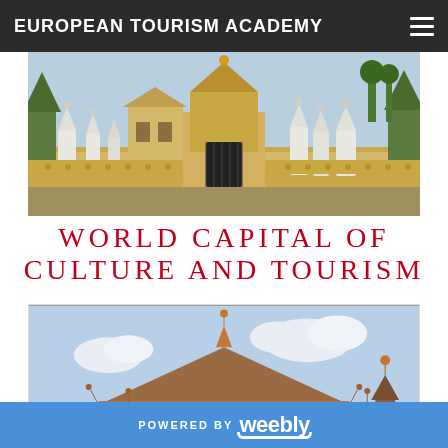EUROPEAN TOURISM ACADEMY
[Figure (photo): Exterior view of a Cambodian temple complex with ornate white stupas, golden gate, and decorative wall along a street]
WORLD CAPITAL OF CULTURE AND TOURISM
[Figure (photo): Cambodian traditional architecture with multi-tiered red-brown wooden roofs with pointed finials against a blue sky]
POWERED BY weebly